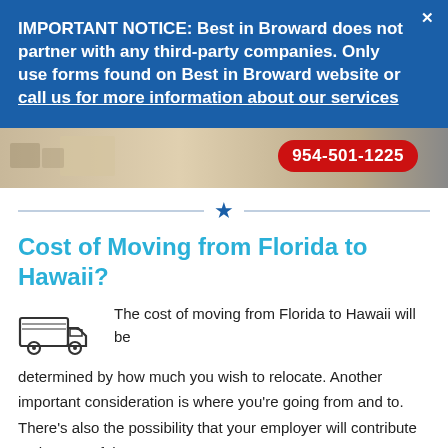IMPORTANT NOTICE: Best in Broward does not partner with any third-party companies. Only use forms found on Best in Broward website or call us for more information about our services
[Figure (photo): Photo strip showing moving-related scene with a red phone badge reading 954-501-1225]
Cost of Moving from Florida to Hawaii?
The cost of moving from Florida to Hawaii will be determined by how much you wish to relocate. Another important consideration is where you're going from and to. There's also the possibility that your employer will contribute to the cost of the